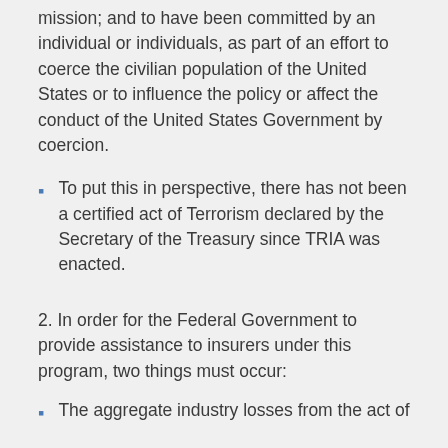mission; and to have been committed by an individual or individuals, as part of an effort to coerce the civilian population of the United States or to influence the policy or affect the conduct of the United States Government by coercion.
To put this in perspective, there has not been a certified act of Terrorism declared by the Secretary of the Treasury since TRIA was enacted.
2. In order for the Federal Government to provide assistance to insurers under this program, two things must occur:
The aggregate industry losses from the act of